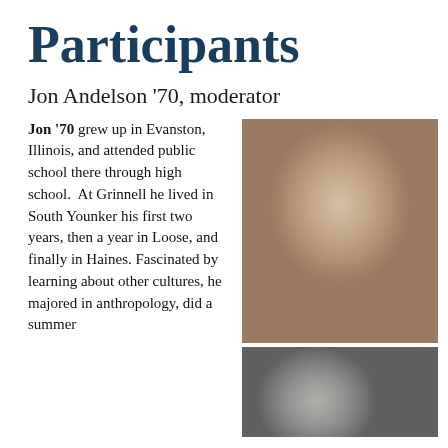Participants
Jon Andelson '70, moderator
Jon '70 grew up in Evanston, Illinois, and attended public school there through high school.  At Grinnell he lived in South Younker his first two years, then a year in Loose, and finally in Haines. Fascinated by learning about other cultures, he majored in anthropology, did a summer
[Figure (photo): Color photograph of Jon Andelson, a middle-aged to older man with white/gray hair, smiling, wearing a striped blue shirt and gray vest, outdoors with blurred leafy background.]
[Figure (photo): Black and white photograph, partial view, appears to be a younger portrait photo of a person.]